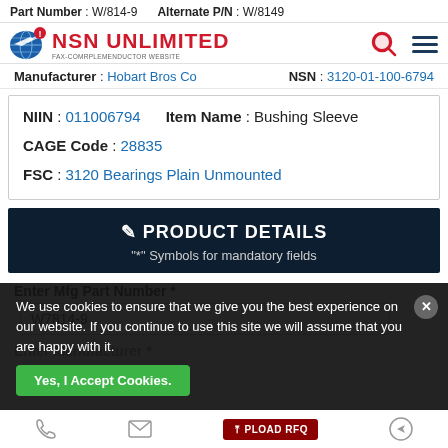Part Number : W/814-9   Alternate P/N : W/8149
[Figure (logo): NSN Unlimited logo with globe icon and red text]
Manufacturer : Hobart Bros Co   NSN : 3120-01-100-6794
NIIN : 011006794   Item Name : Bushing Sleeve
CAGE Code : 28835
FSC : 3120 Bearings Plain Unmounted
✎ PRODUCT DETAILS
"*" Symbols for mandatory fields
Enter Mfg Part Number *
W7814-9
Enter Manufacturer *
We use cookies to ensure that we give you the best experience on our website. If you continue to use this site we will assume that you are happy with it.
Yes, I Accept Cookies.